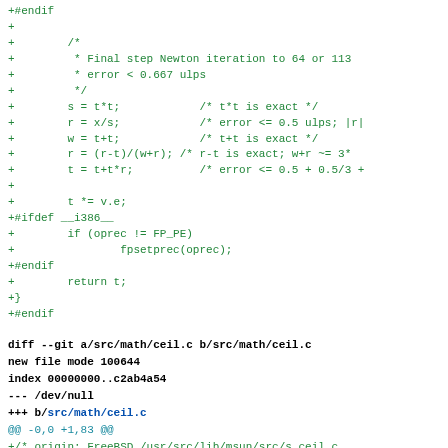Code diff showing Newton iteration sqrt implementation and diff --git header for src/math/ceil.c